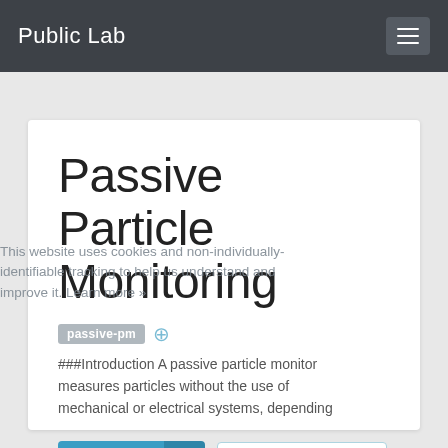Public Lab
Passive Particle Monitoring
passive-pm
###Introduction A passive particle monitor measures particles without the use of mechanical or electrical systems, depending
This website uses cookies and non-individually-identifiable tracking to help us understand and improve it. Learn more »
Follow
Learn more »